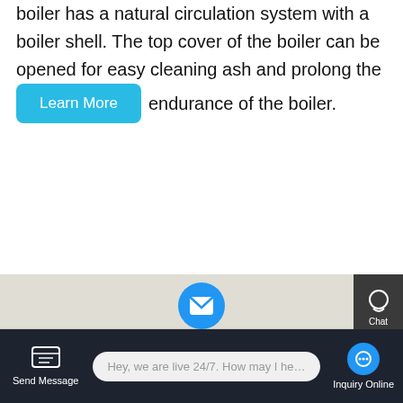boiler has a natural circulation system with a boiler shell. The top cover of the boiler can be opened for easy cleaning ash and prolong the endurance of the boiler.
Learn More
[Figure (photo): Industrial boilers in an equipment room, showing large dark-colored boiler units with orange/yellow pipes and connections, branded FANGXUAI]
Contact us now!
Lotte Engineering and
Hey, we are live 24/7. How may I help you?
Send Message
Inquiry Online